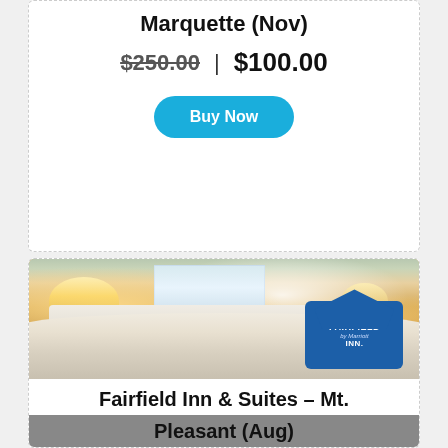Marquette (Nov)
$250.00 | $100.00
Buy Now
[Figure (photo): Hotel room interior showing two beds with white bedding, lamps, a window with sheer curtains, a desk with chair, and a Fairfield Inn by Marriott logo in the lower right corner.]
Fairfield Inn & Suites – Mt. Pleasant (Aug)